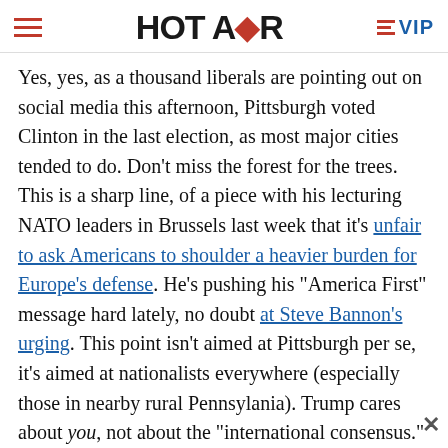HOT AIR  VIP
Yes, yes, as a thousand liberals are pointing out on social media this afternoon, Pittsburgh voted Clinton in the last election, as most major cities tended to do. Don’t miss the forest for the trees. This is a sharp line, of a piece with his lecturing NATO leaders in Brussels last week that it’s unfair to ask Americans to shoulder a heavier burden for Europe’s defense. He’s pushing his “America First” message hard lately, no doubt at Steve Bannon’s urging. This point isn’t aimed at Pittsburgh per se, it’s aimed at nationalists everywhere (especially those in nearby rural Pennsylania). Trump cares about you, not about the “international consensus.” In fact, this line may work better because Pittsburgh didn’t vote for him. An American city that preferred his opponent still matters more to him than the opinion of his elite peers in foreign capitals.